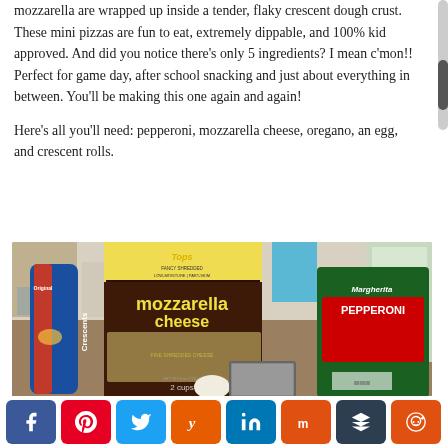mozzarella are wrapped up inside a tender, flaky crescent dough crust. These mini pizzas are fun to eat, extremely dippable, and 100% kid approved. And did you notice there's only 5 ingredients? I mean c'mon!! Perfect for game day, after school snacking and just about everything in between. You'll be making this one again and again!
Here's all you'll need: pepperoni, mozzarella cheese, oregano, an egg, and crescent rolls.
[Figure (photo): Kitchen counter with ingredients: Pillsbury Crescent rolls can, Tops Fancy Shredded Low-Moisture Part-Skim Mozzarella Cheese bag (2 cups), Margherita Pepperoni bag, an egg, and a baking pan.]
[Figure (infographic): Social media share buttons row: Facebook (blue), Pinterest (red), Twitter (light blue), Yummly (orange), LinkedIn (blue), Mix (orange), Buffer (dark), Reddit (orange)]